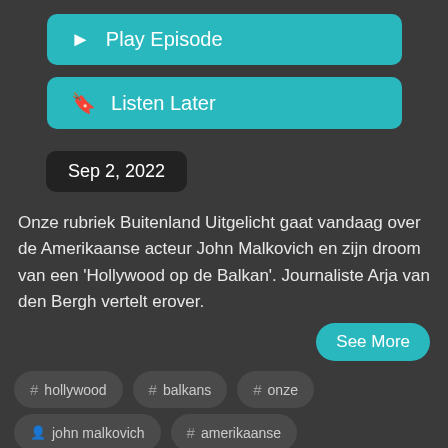▶ Play Episode
🔖 Listen Later
Sep 2, 2022
Onze rubriek Buitenland Uitgelicht gaat vandaag over de Amerikaanse acteur John Malkovich en zijn droom van een 'Hollywood op de Balkan'. Journaliste Arja van den Bergh vertelt erover.
See More
# hollywood
# balkans
# onze
👤 john malkovich
# amerikaanse
# bergh
# noord
# buitenland